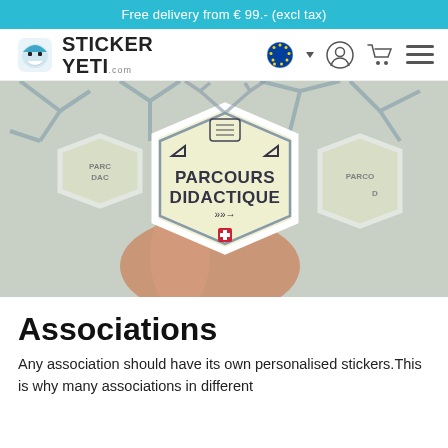Free delivery from € 99.- (excl tax)
[Figure (logo): Sticker Yeti logo with yeti character icon and brand name]
[Figure (photo): Hero image showing multiple custom die-cut stickers reading 'PARCOURS DIDACTIQUE' with a hexagon badge design, antler illustration, and Swiss cross icon, held in someone's hand]
Associations
Any association should have its own personalised stickers.This is why many associations in different